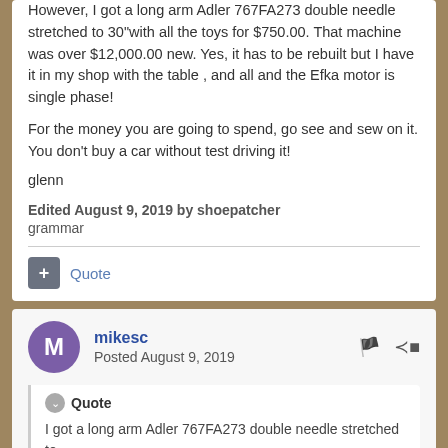However, I got a long arm Adler 767FA273 double needle stretched to 30"with all the toys for $750.00.  That machine was over $12,000.00 new.  Yes, it has to be rebuilt but I have it in my shop with the table , and all and the Efka motor is single phase!
For the money you are going to spend, go see and sew on it.  You don't buy a car without test driving it!
glenn
Edited August 9, 2019 by shoepatcher
grammar
Quote
mikesc
Posted August 9, 2019
Quote
I got a long arm Adler 767FA273 double needle stretched to